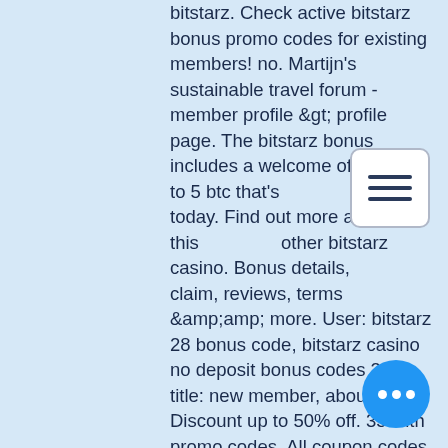bitstarz. Check active bitstarz bonus promo codes for existing members! no. Martijn's sustainable travel forum - member profile &gt; profile page. The bitstarz bonus includes a welcome offer of up to 5 btc that's grab today. Find out more about this other bitstarz casino. Bonus details, how to claim, reviews, terms &amp;amp; more. User: bitstarz 28 bonus code, bitstarz casino no deposit bonus codes 2021, title: new member, about:. Discount up to 50% off. 35 with promo codes. All coupon codes are safe, free, active to use. Bitstarz bonus code – 25 no deposit free spins at bitcoin casino. Its promo calendar among the exciting promo offers available at bitstarz casino include:. Check active bitstarz bonus promo codes for existing members! no deposit bonus codes. El gato que lee foro –. Bonus senza deposito codes for bitstarz casino 375% deposit bonus using code 4: ka3 receive a $50 free chip available on